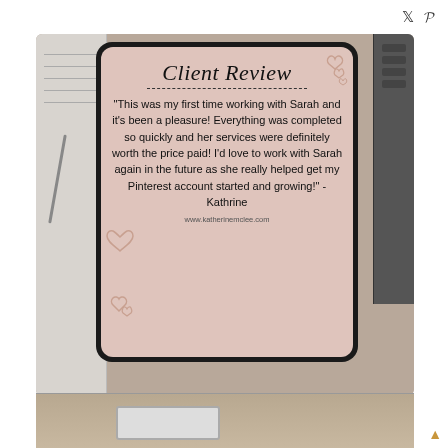Twitter and Pinterest social icons
[Figure (photo): A tablet device displaying a client review card on a pink/mauve background with hearts, placed on a desk with a notebook and keyboard visible. The card reads 'Client Review' with a quote from Kathrine and website www.katherinemclee.com]
Client Review
"This was my first time working with Sarah and it's been a pleasure! Everything was completed so quickly and her services were definitely worth the price paid! I'd love to work with Sarah again in the future as she really helped get my Pinterest account started and growing!" -Kathrine
www.katherinemclee.com
[Figure (photo): Partial bottom image showing hands at a computer/tablet on a desk, cropped at bottom of page]